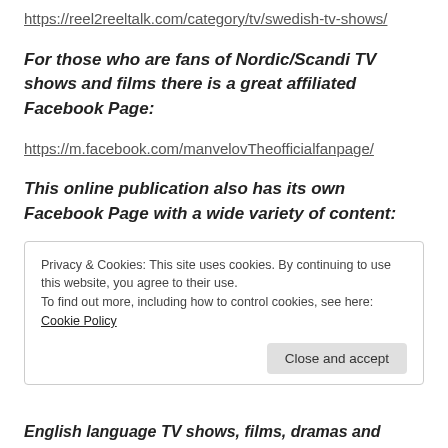https://reel2reeltalk.com/category/tv/swedish-tv-shows/
For those who are fans of Nordic/Scandi TV shows and films there is a great affiliated Facebook Page:
https://m.facebook.com/manvelovTheofficialfanpage/
This online publication also has its own Facebook Page with a wide variety of content:
Privacy & Cookies: This site uses cookies. By continuing to use this website, you agree to their use.
To find out more, including how to control cookies, see here: Cookie Policy
Close and accept
English language TV shows, films, dramas and